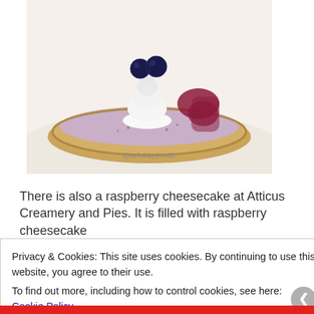[Figure (photo): A blueberry cheesecake tart with whipped cream topping, berry sauce, and fresh blueberries on top, in a golden tart shell. Watermark reads @nelokittyfoodie.]
There is also a raspberry cheesecake at Atticus Creamery and Pies. It is filled with raspberry cheesecake
Privacy & Cookies: This site uses cookies. By continuing to use this website, you agree to their use.
To find out more, including how to control cookies, see here: Cookie Policy
Close and accept